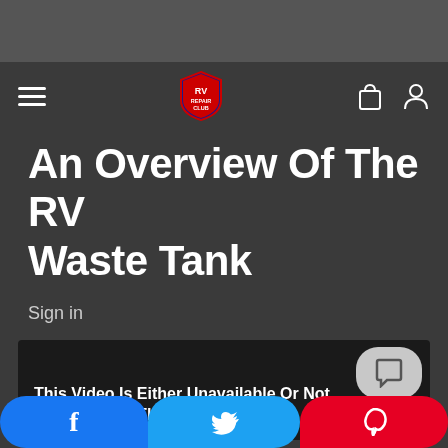RV Repair Club — navigation bar with hamburger menu, RV Repair Club logo, shopping bag and user icons
An Overview Of The RV Waste Tank
Sign in
[Figure (screenshot): Video player placeholder showing text: This Video Is Either Unavailable Or Not Supported In This Browser]
Social share buttons: Facebook (f), Twitter (bird), Pinterest (P)